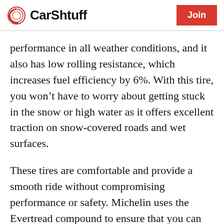CarShtuff | Join
performance in all weather conditions, and it also has low rolling resistance, which increases fuel efficiency by 6%. With this tire, you won't have to worry about getting stuck in the snow or high water as it offers excellent traction on snow-covered roads and wet surfaces.
These tires are comfortable and provide a smooth ride without compromising performance or safety. Michelin uses the Evertread compound to ensure that you can have the optimal road grip you need while enhancing the road contact for more